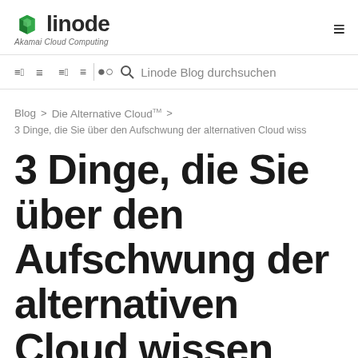linode — Akamai Cloud Computing
Linode Blog durchsuchen
Blog > Die Alternative Cloud™ >
3 Dinge, die Sie über den Aufschwung der alternativen Cloud müss
3 Dinge, die Sie über den Aufschwung der alternativen Cloud wissen müssen